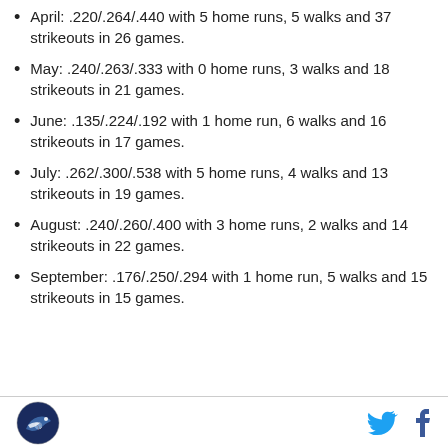April: .220/.264/.440 with 5 home runs, 5 walks and 37 strikeouts in 26 games.
May: .240/.263/.333 with 0 home runs, 3 walks and 18 strikeouts in 21 games.
June: .135/.224/.192 with 1 home run, 6 walks and 16 strikeouts in 17 games.
July: .262/.300/.538 with 5 home runs, 4 walks and 13 strikeouts in 19 games.
August: .240/.260/.400 with 3 home runs, 2 walks and 14 strikeouts in 22 games.
September: .176/.250/.294 with 1 home run, 5 walks and 15 strikeouts in 15 games.
Logo and social media icons